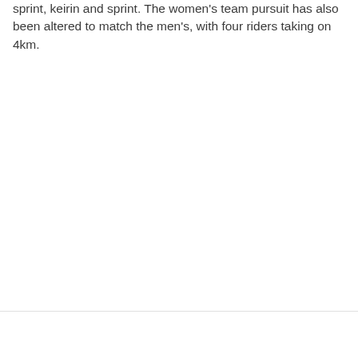sprint, keirin and sprint. The women's team pursuit has also been altered to match the men's, with four riders taking on 4km.